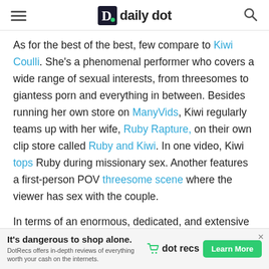daily dot
As for the best of the best, few compare to Kiwi Coulli. She's a phenomenal performer who covers a wide range of sexual interests, from threesomes to giantess porn and everything in between. Besides running her own store on ManyVids, Kiwi regularly teams up with her wife, Ruby Rapture, on their own clip store called Ruby and Kiwi. In one video, Kiwi tops Ruby during missionary sex. Another features a first-person POV threesome scene where the viewer has sex with the couple.
In terms of an enormous, dedicated, and extensive library of high-quality porn for trans women, there's also the Crash Pad Series. A sizable number of queer
[Figure (other): Advertisement banner: 'It's dangerous to shop alone. dot recs. DotRecs offers in-depth reviews of everything worth your cash on the internets. Learn More button.']